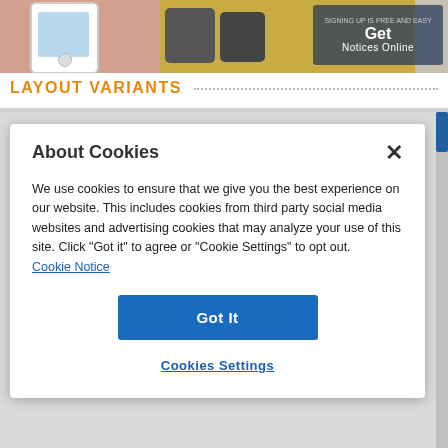[Figure (screenshot): Screenshot of a webpage showing a hand holding a white smartphone, dark phones in background, yellow/olive colored background, and a 'Get Notices Online' dark blue box in the top right corner]
LAYOUT VARIANTS
[Figure (screenshot): Cookie consent modal dialog with 'About Cookies' title and X close button, body text about cookies usage, a 'Cookie Notice' link, a blue 'Got It' button, and a 'Cookies Settings' link below]